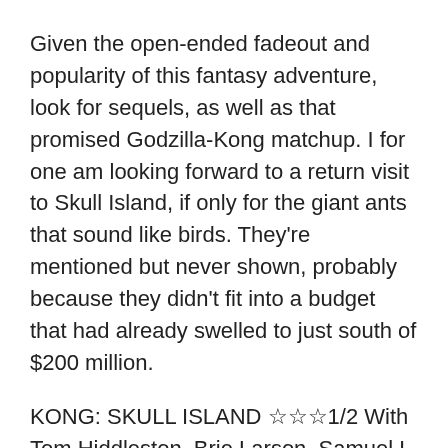Given the open-ended fadeout and popularity of this fantasy adventure, look for sequels, as well as that promised Godzilla-Kong matchup. I for one am looking forward to a return visit to Skull Island, if only for the giant ants that sound like birds. They're mentioned but never shown, probably because they didn't fit into a budget that had already swelled to just south of $200 million.
KONG: SKULL ISLAND ☆☆☆1/2 With Tom Hiddleston, Brie Larson, Samuel L. Jackson, John C. Reilly, John Goodman, John Ortiz. Directed by Jordan Vogt-Roberts; scripted by Dan Gilroy, Max Borenstein, Derek Connelly. 118 min. Rated PG-13 (for slight profanity, somewhat grisly attacks by digital-effects beasties; will be too intense for some children under 12).